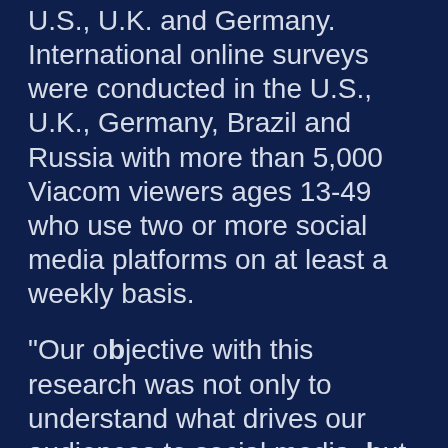U.S., U.K. and Germany. International online surveys were conducted in the U.S., U.K., Germany, Brazil and Russia with more than 5,000 Viacom viewers ages 13-49 who use two or more social media platforms on at least a weekly basis.
"Our objective with this research was not only to understand what drives our audiences to social media, but also to see how their social media activity impacts viewing behaviors," said Colleen Fahey Rush, Executive Vice President and Chief Research Officer, Viacom Media Networks. "At Viacom, we're focused on creating